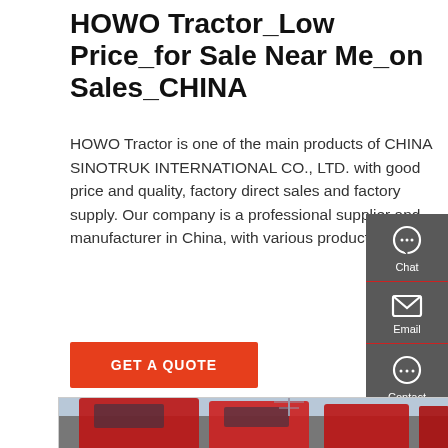HOWO Tractor_Low Price_for Sale Near Me_on Sales_CHINA
HOWO Tractor is one of the main products of CHINA SINOTRUK INTERNATIONAL CO., LTD. with good price and quality, factory direct sales and factory supply. Our company is a professional supplier and manufacturer in China, with various products on sale.
[Figure (infographic): Orange-red GET A QUOTE button]
[Figure (infographic): Right-side sidebar with Chat, Email, and Contact icons on dark grey background]
[Figure (photo): Multiple red HOWO tractor trucks parked in a lot, viewed from the rear-side, with a power transmission tower in the background]